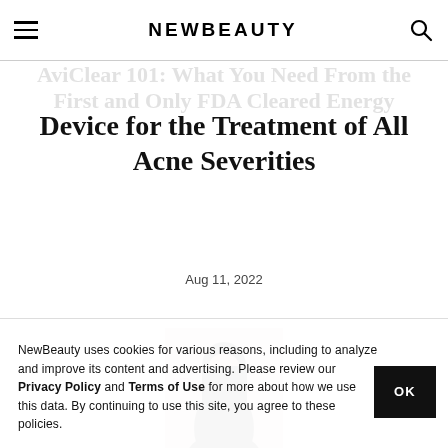NEWBEAUTY
AviClear 101: What You Need From the First and Only FDA Cleared Energy Device for the Treatment of All Acne Severities
Aug 11, 2022
[Figure (photo): Partial view of a NewBeauty magazine cover showing a woman with dark hair]
NewBeauty uses cookies for various reasons, including to analyze and improve its content and advertising. Please review our Privacy Policy and Terms of Use for more about how we use this data. By continuing to use this site, you agree to these policies.